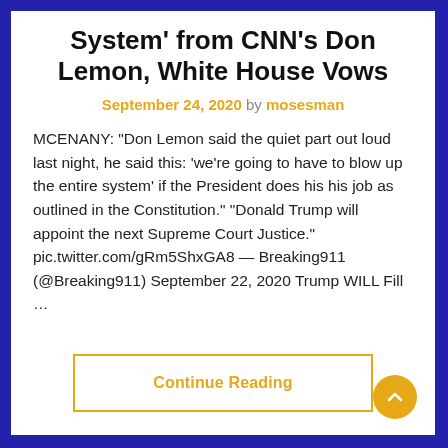System' from CNN's Don Lemon, White House Vows
September 24, 2020 by mosesman
MCENANY: "Don Lemon said the quiet part out loud last night, he said this: 'we're going to have to blow up the entire system' if the President does his his job as outlined in the Constitution." "Donald Trump will appoint the next Supreme Court Justice." pic.twitter.com/gRm5ShxGA8 — Breaking911 (@Breaking911) September 22, 2020 Trump WILL Fill …
Continue Reading